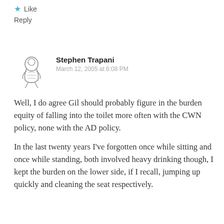★ Like
Reply
[Figure (illustration): Small black and white illustration of a crouching or hunched figure, possibly an animal or stylized character]
Stephen Trapani
March 12, 2005 at 6:08 PM
Well, I do agree Gil should probably figure in the burden equity of falling into the toilet more often with the CWN policy, none with the AD policy.
In the last twenty years I've forgotten once while sitting and once while standing, both involved heavy drinking though, I kept the burden on the lower side, if I recall, jumping up quickly and cleaning the seat respectively.